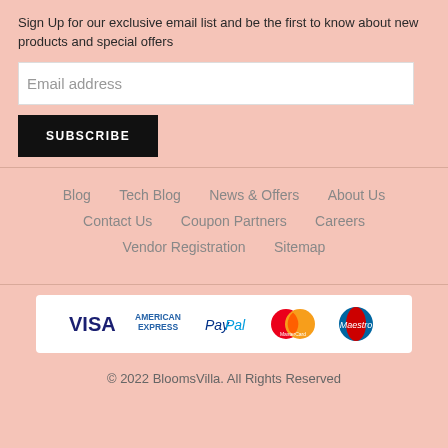Sign Up for our exclusive email list and be the first to know about new products and special offers
Email address
SUBSCRIBE
Blog
Tech Blog
News & Offers
About Us
Contact Us
Coupon Partners
Careers
Vendor Registration
Sitemap
[Figure (other): Payment method logos: VISA, American Express, PayPal, MasterCard, Maestro]
© 2022 BloomsVilla. All Rights Reserved